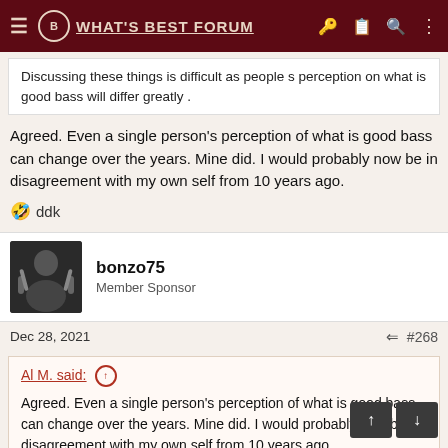WHAT'S BEST FORUM
Discussing these things is difficult as people s perception on what is good bass will differ greatly .
Agreed. Even a single person's perception of what is good bass can change over the years. Mine did. I would probably now be in disagreement with my own self from 10 years ago.
🤣 ddk
bonzo75
Member Sponsor
Dec 28, 2021   #268
Al M. said: ↑
Agreed. Even a single person's perception of what is good bass can change over the years. Mine did. I would probably now be in disagreement with my own self from 10 years ago.